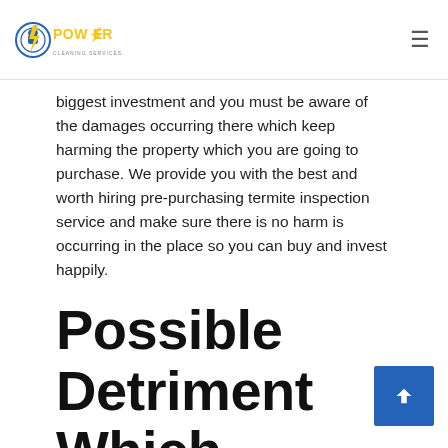Power Cleaning Services logo and navigation
biggest investment and you must be aware of the damages occurring there which keep harming the property which you are going to purchase. We provide you with the best and worth hiring pre-purchasing termite inspection service and make sure there is no harm is occurring in the place so you can buy and invest happily.
Possible Detriment Which Occurs Due To Hazardous and